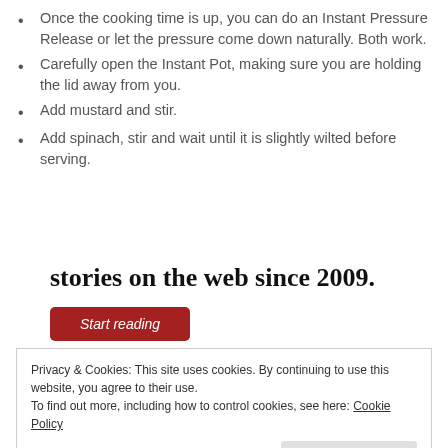Once the cooking time is up, you can do an Instant Pressure Release or let the pressure come down naturally. Both work.
Carefully open the Instant Pot, making sure you are holding the lid away from you.
Add mustard and stir.
Add spinach, stir and wait until it is slightly wilted before serving.
stories on the web since 2009.
Start reading
Privacy & Cookies: This site uses cookies. By continuing to use this website, you agree to their use.
To find out more, including how to control cookies, see here: Cookie Policy
Close and accept